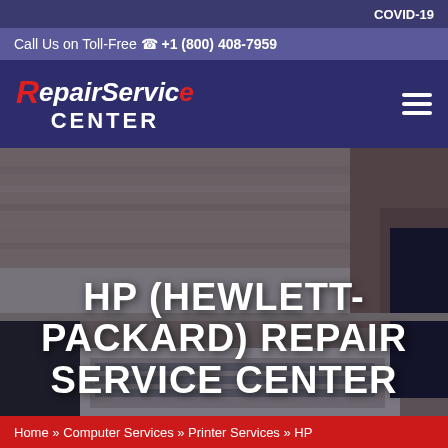COVID-19
Call Us on Toll-Free +1 (800) 408-7959
[Figure (logo): RepairService CENTER logo in red and white text on dark blue background with hamburger menu icon]
[Figure (photo): Photo of person using laptop on desk with keyboard visible, dark overlay with large white text overlay]
HP (HEWLETT-PACKARD) REPAIR SERVICE CENTER
Home » Computer Services » Printer Services » HP